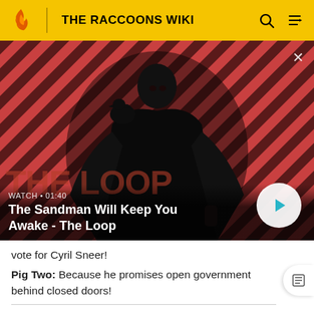THE RACCOONS WIKI
[Figure (screenshot): Video thumbnail showing a dark figure (man in black coat with a raven on his shoulder) against a red and dark diagonal striped background. Text overlay reads 'WATCH • 01:40' and 'The Sandman Will Keep You Awake - The Loop' with a play button.]
vote for Cyril Sneer!
Pig Two: Because he promises open government behind closed doors!
Pig One: Things are worse than we thought. Let's face it boys, if the boss loses, we lose. No cushy job as the